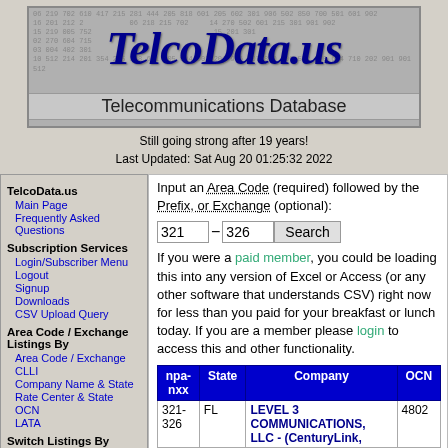[Figure (logo): TelcoData.us logo banner with number background and 'Telecommunications Database' subtitle]
Still going strong after 19 years!
Last Updated: Sat Aug 20 01:25:32 2022
TelcoData.us
Main Page
Frequently Asked Questions
Subscription Services
Login/Subscriber Menu
Logout
Signup
Downloads
CSV Upload Query
Area Code / Exchange Listings By
Area Code / Exchange
CLLI
Company Name & State
Rate Center & State
OCN
LATA
Switch Listings By
Input an Area Code (required) followed by the Prefix, or Exchange (optional):
If you were a paid member, you could be loading this into any version of Excel or Access (or any other software that understands CSV) right now for less than you paid for your breakfast or lunch today. If you are a member please login to access this and other functionality.
| npa-nxx | State | Company | OCN |
| --- | --- | --- | --- |
| 321-326 | FL | LEVEL 3 COMMUNICATIONS, LLC - (CenturyLink, | 4802 |